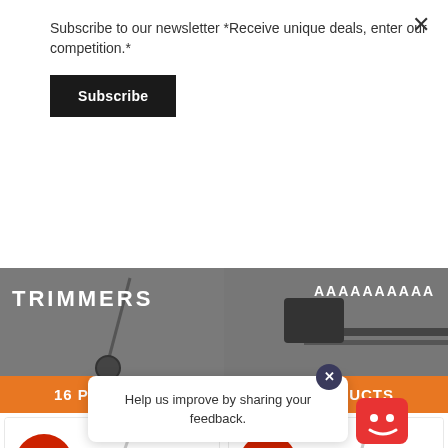Subscribe to our newsletter *Receive unique deals, enter our competition.*
Subscribe
[Figure (screenshot): Two product category tiles: TRIMMERS with 16 PRODUCTS and a hedge trimmer category with 36 PRODUCTS, each with orange label bar at bottom]
[Figure (screenshot): Two product cards with SALE! badges showing long-reach hedge trimmer tools]
Help us improve by sharing your feedback.